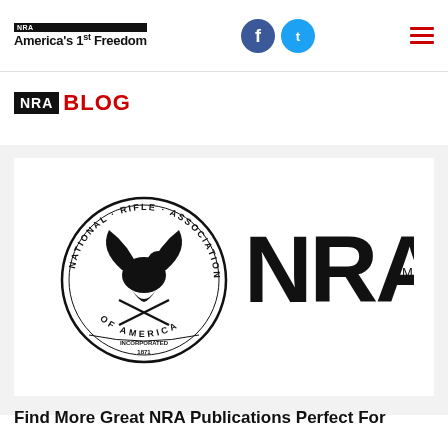NRA America's 1st Freedom
NRA BLOG
[Figure (logo): NRA National Rifle Association of America seal logo alongside large NRA wordmark with TM symbol]
Find More Great NRA Publications Perfect For